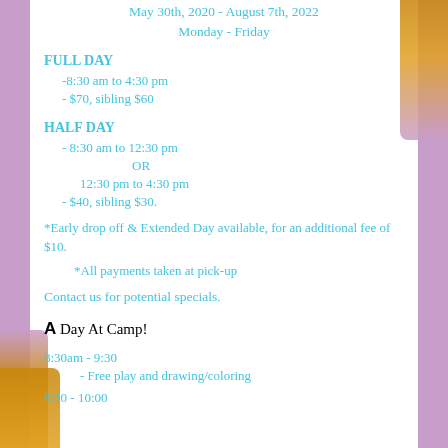May 30th, 2020 - August 7th, 2022
Monday - Friday
FULL DAY
-8:30 am to 4:30 pm
- $70, sibling $60
HALF DAY
- 8:30 am to 12:30 pm
                        OR
        12:30 pm to 4:30 pm
- $40, sibling $30.
*Early drop off & Extended Day available, for an additional fee of $10.
*All payments taken at pick-up
Contact us for potential specials.
A Day At Camp!
8:30am - 9:30
- Free play and drawing/coloring
9:30 - 10:00